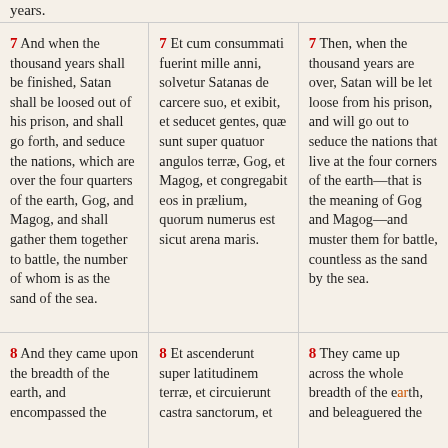years.
7 And when the thousand years shall be finished, Satan shall be loosed out of his prison, and shall go forth, and seduce the nations, which are over the four quarters of the earth, Gog, and Magog, and shall gather them together to battle, the number of whom is as the sand of the sea.
7 Et cum consummati fuerint mille anni, solvetur Satanas de carcere suo, et exibit, et seducet gentes, quæ sunt super quatuor angulos terræ, Gog, et Magog, et congregabit eos in prælium, quorum numerus est sicut arena maris.
7 Then, when the thousand years are over, Satan will be let loose from his prison, and will go out to seduce the nations that live at the four corners of the earth—that is the meaning of Gog and Magog—and muster them for battle, countless as the sand by the sea.
8 And they came upon the breadth of the earth, and encompassed the
8 Et ascenderunt super latitudinem terræ, et circuierunt castra sanctorum, et
8 They came up across the whole breadth of the earth, and beleaguered the